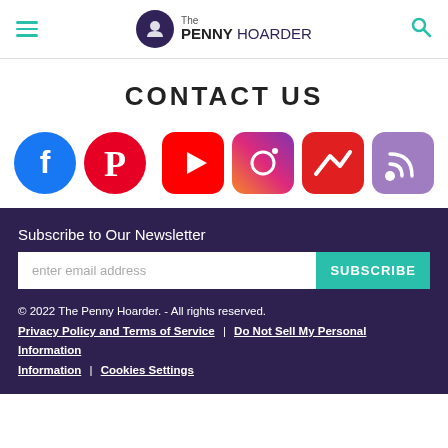The PENNY HOARDER
CONTACT US
[Figure (infographic): Row of social media icons: Facebook (blue circle), Pinterest (red circle), YouTube (red rounded square), Instagram (gradient rounded square), Messenger/Nuzzel (red rounded square with lightning bolt), RSS (purple rounded square)]
Subscribe to Our Newsletter
enter email address   SUBSCRIBE
© 2022 The Penny Hoarder. - All rights reserved. Privacy Policy and Terms of Service | Do Not Sell My Personal Information | Cookies Settings